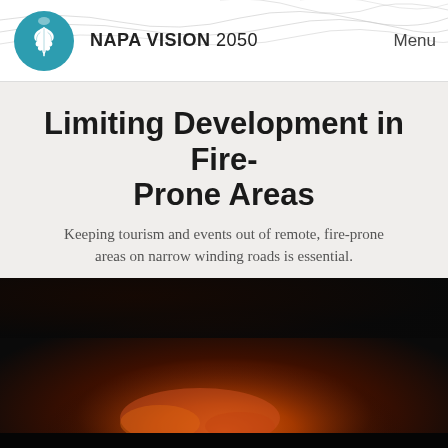NAPA VISION 2050  Menu
Limiting Development in Fire-Prone Areas
Keeping tourism and events out of remote, fire-prone areas on narrow winding roads is essential.
Project Status Active
[Figure (photo): Dark photograph of a fire, showing glowing orange flames/embers against a black background, likely a nighttime wildfire scene.]